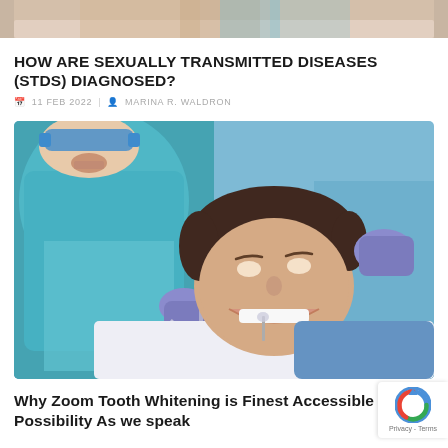[Figure (photo): Partial view of a photo at top of page, cropped - appears to show a person's face/neck area]
HOW ARE SEXUALLY TRANSMITTED DISEASES (STDS) DIAGNOSED?
11 FEB 2022 | MARINA R. WALDRON
[Figure (photo): A dentist in teal scrubs and blue gloves performing a dental procedure on a smiling male patient in a dental chair]
Why Zoom Tooth Whitening is Finest Accessible Possibility As we speak